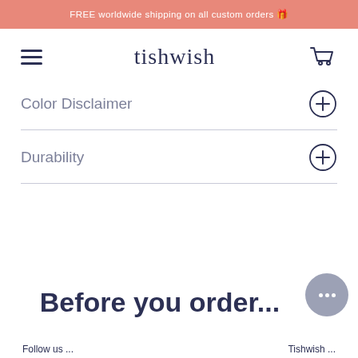FREE worldwide shipping on all custom orders 🎁
[Figure (logo): Tishwish logo with hamburger menu icon on left and shopping cart icon on right]
Color Disclaimer
Durability
Before you order...
Follow us ... | Tishwish ...